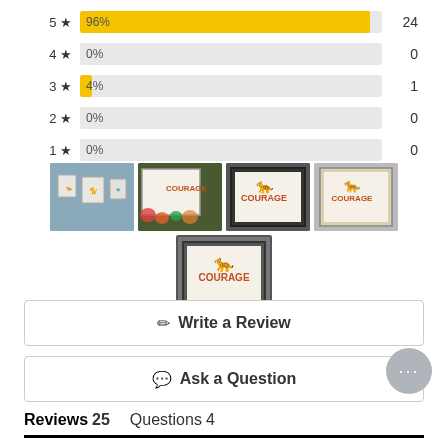[Figure (bar-chart): Star rating distribution]
[Figure (photo): Grid of 5 product review photos showing framed artwork with tiger/leopard and COURAGE text]
✏ Write a Review
💬 Ask a Question
Reviews 25    Questions 4